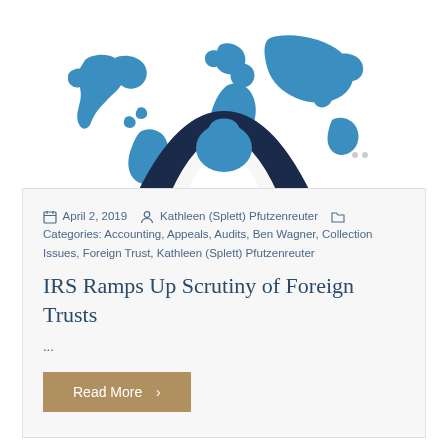[Figure (illustration): World map with blue continents on white background, overlaid with a dark navy semicircle arc and a smaller blue padlock/shield icon in the center foreground]
April 2, 2019   Kathleen (Splett) Pfutzenreuter   Categories: Accounting, Appeals, Audits, Ben Wagner, Collection Issues, Foreign Trust, Kathleen (Splett) Pfutzenreuter
IRS Ramps Up Scrutiny of Foreign Trusts
...
Read More >